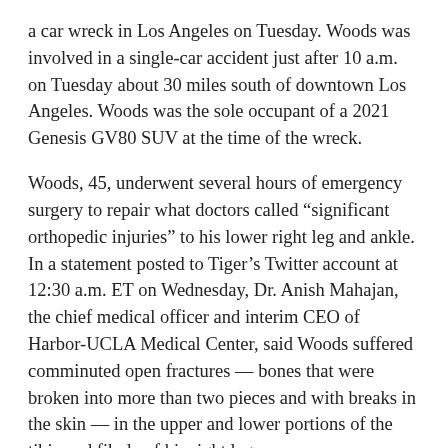a car wreck in Los Angeles on Tuesday. Woods was involved in a single-car accident just after 10 a.m. on Tuesday about 30 miles south of downtown Los Angeles. Woods was the sole occupant of a 2021 Genesis GV80 SUV at the time of the wreck.
Woods, 45, underwent several hours of emergency surgery to repair what doctors called “significant orthopedic injuries” to his lower right leg and ankle. In a statement posted to Tiger’s Twitter account at 12:30 a.m. ET on Wednesday, Dr. Anish Mahajan, the chief medical officer and interim CEO of Harbor-UCLA Medical Center, said Woods suffered comminuted open fractures — bones that were broken into more than two pieces and with breaks in the skin — in the upper and lower portions of the tibia and fibula of his right leg.
Weather was not a factor, according to Villanueva, and authorities didn’t immediately know how fast Woods was driving when he crashed. L.A. County Sheriff’s Deputy Carlos Gonzalez said he sometimes stops people driving well over the speed limit